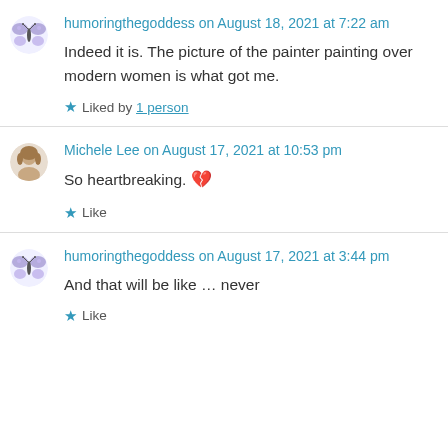humoringthegoddess on August 18, 2021 at 7:22 am
Indeed it is. The picture of the painter painting over modern women is what got me.
Liked by 1 person
Michele Lee on August 17, 2021 at 10:53 pm
So heartbreaking. 💔
Like
humoringthegoddess on August 17, 2021 at 3:44 pm
And that will be like … never
Like